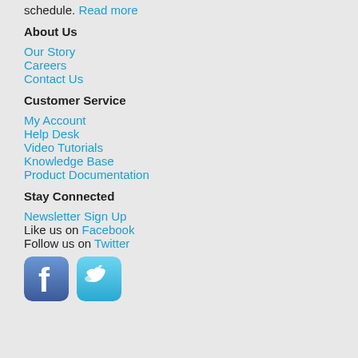schedule. Read more
About Us
Our Story
Careers
Contact Us
Customer Service
My Account
Help Desk
Video Tutorials
Knowledge Base
Product Documentation
Stay Connected
Newsletter Sign Up
Like us on Facebook
Follow us on Twitter
[Figure (logo): Facebook and Twitter social media icon buttons]